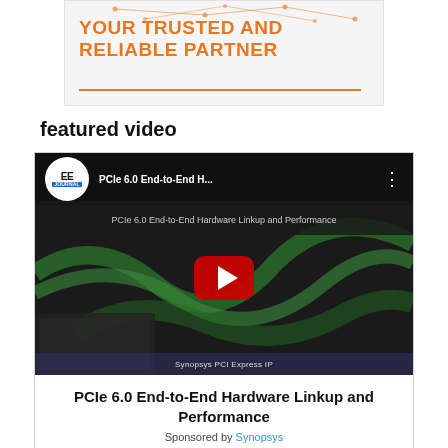[Figure (illustration): Advertisement banner with orange bold text 'YOUR TRUSTED AND RELIABLE PARTNER' on light gray background with network line graphics at top and orange underline at bottom]
featured video
[Figure (screenshot): YouTube video player screenshot showing EEJournal channel, video titled 'PCIe 6.0 End-to-End H...' with subtitle 'PCIe 6.0 End-to-End Hardware Linkup and Performance', red play button, dark background with green cables, and 'Synopsys PCI Express IP' watermark at bottom]
PCIe 6.0 End-to-End Hardware Linkup and Performance
Sponsored by Synopsys